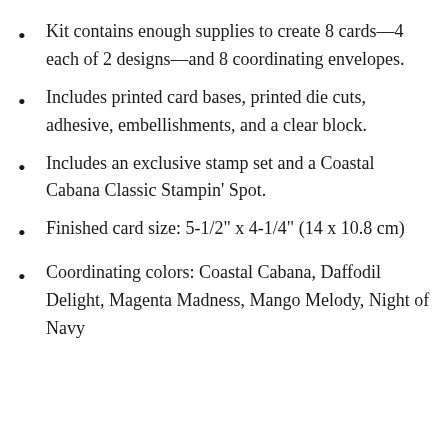Kit contains enough supplies to create 8 cards—4 each of 2 designs—and 8 coordinating envelopes.
Includes printed card bases, printed die cuts, adhesive, embellishments, and a clear block.
Includes an exclusive stamp set and a Coastal Cabana Classic Stampin' Spot.
Finished card size: 5-1/2" x 4-1/4" (14 x 10.8 cm)
Coordinating colors: Coastal Cabana, Daffodil Delight, Magenta Madness, Mango Melody, Night of Navy